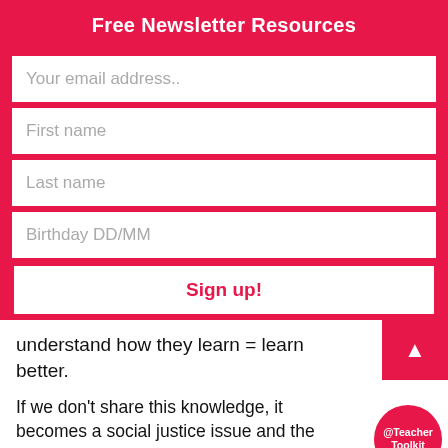Free Newsletter Resources
Your email address..
First name
Last name
Birthday DD/MM
Sign up!
understand how they learn = learn better.
If we don't share this knowledge, it becomes a social justice issue and the more information (prior knowledge/cultural capital), the more information can be recalled = The Matthew Effect. In addition, researchers have learned to help tea
@Teacher Toolkit
Our Privacy and Cookies Policy